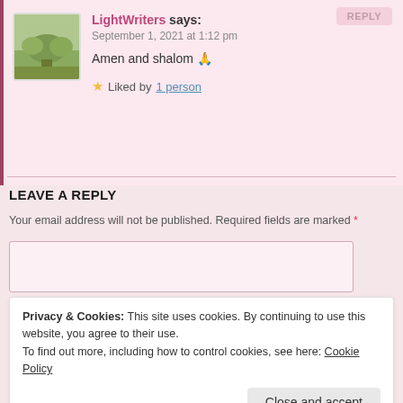LightWriters says: September 1, 2021 at 1:12 pm
Amen and shalom 🙏
⭐ Liked by 1 person
LEAVE A REPLY
Your email address will not be published. Required fields are marked *
Privacy & Cookies: This site uses cookies. By continuing to use this website, you agree to their use. To find out more, including how to control cookies, see here: Cookie Policy
Close and accept